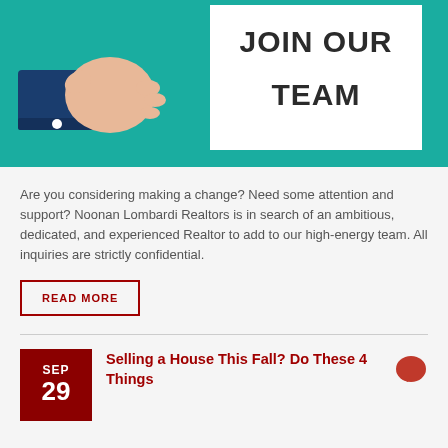[Figure (illustration): Promotional banner with teal background showing a hand in a dark blue sleeve holding a white sign that reads JOIN OUR TEAM in bold black text.]
Are you considering making a change? Need some attention and support? Noonan Lombardi Realtors is in search of an ambitious, dedicated, and experienced Realtor to add to our high-energy team. All inquiries are strictly confidential.
READ MORE
Selling a House This Fall? Do These 4 Things